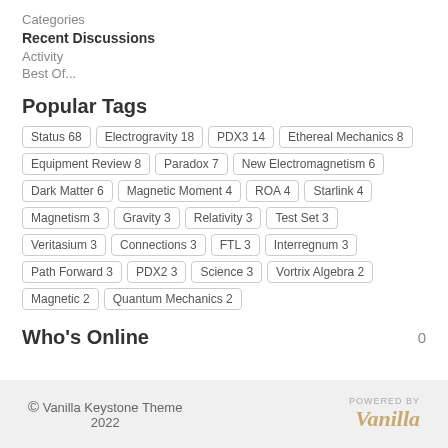Categories
Recent Discussions
Activity
Best Of...
Popular Tags
Status 68, Electrogravity 18, PDX3 14, Ethereal Mechanics 8, Equipment Review 8, Paradox 7, New Electromagnetism 6, Dark Matter 6, Magnetic Moment 4, ROA 4, Starlink 4, Magnetism 3, Gravity 3, Relativity 3, Test Set 3, Veritasium 3, Connections 3, FTL 3, Interregnum 3, Path Forward 3, PDX2 3, Science 3, Vortrix Algebra 2, Magnetic 2, Quantum Mechanics 2
Who's Online
0
© Vanilla Keystone Theme 2022 — POWERED BY Vanilla